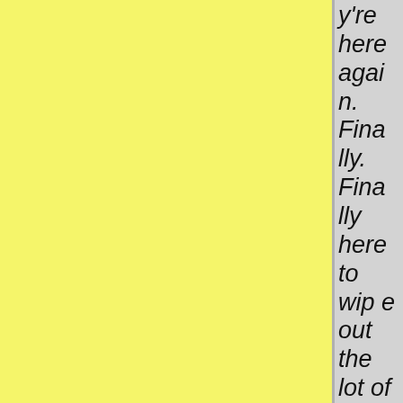[Figure (illustration): Yellow panel on the left side of the page, approximately 83% of the page width, with a light yellow texture/color.]
y're here again. Finally. Finally here to wipe out the lot of us. I should warn som